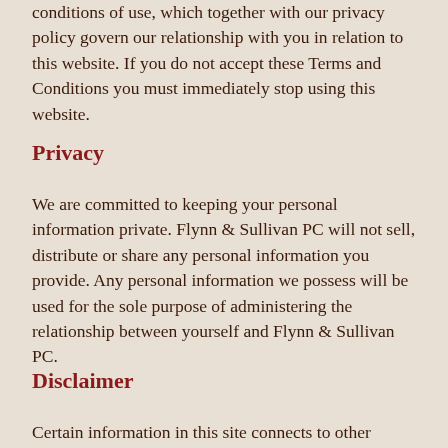conditions of use, which together with our privacy policy govern our relationship with you in relation to this website. If you do not accept these Terms and Conditions you must immediately stop using this website.
Privacy
We are committed to keeping your personal information private. Flynn & Sullivan PC will not sell, distribute or share any personal information you provide. Any personal information we possess will be used for the sole purpose of administering the relationship between yourself and Flynn & Sullivan PC.
Disclaimer
Certain information in this site connects to other